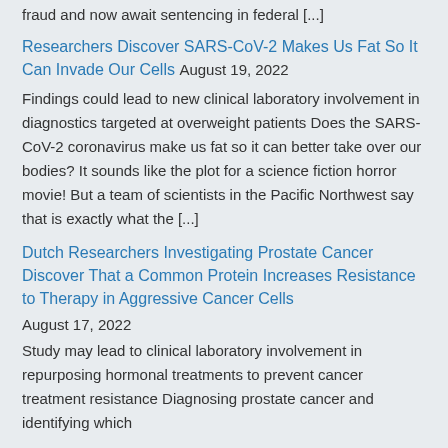fraud and now await sentencing in federal [...]
Researchers Discover SARS-CoV-2 Makes Us Fat So It Can Invade Our Cells
August 19, 2022
Findings could lead to new clinical laboratory involvement in diagnostics targeted at overweight patients Does the SARS-CoV-2 coronavirus make us fat so it can better take over our bodies? It sounds like the plot for a science fiction horror movie! But a team of scientists in the Pacific Northwest say that is exactly what the [...]
Dutch Researchers Investigating Prostate Cancer Discover That a Common Protein Increases Resistance to Therapy in Aggressive Cancer Cells
August 17, 2022
Study may lead to clinical laboratory involvement in repurposing hormonal treatments to prevent cancer treatment resistance Diagnosing prostate cancer and identifying which